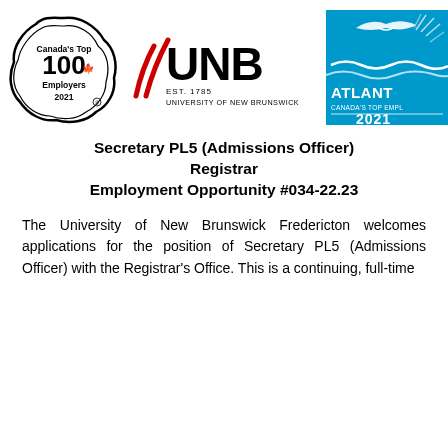[Figure (logo): Canada's Top 100 Employers 2021 badge — circular black outline with maple leaf]
[Figure (logo): UNB University of New Brunswick logo — EST. 1785 with stylized red sail marks]
[Figure (logo): Atlantic Canada's Top Employers 2021 — blue rectangle with white bird/wave graphic]
Secretary PL5 (Admissions Officer)
Registrar
Employment Opportunity #034-22.23
The University of New Brunswick Fredericton welcomes applications for the position of Secretary PL5 (Admissions Officer) with the Registrar's Office. This is a continuing, full-time